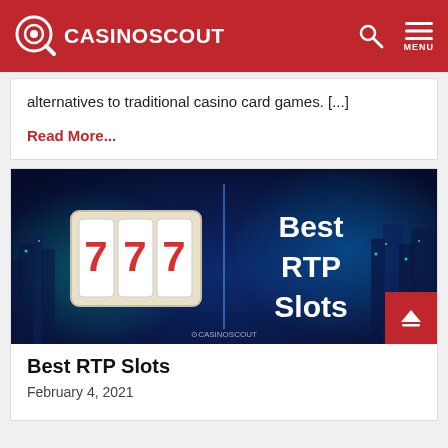CASINOSCOUT
alternatives to traditional casino card games. [...]
Read More...
[Figure (screenshot): Best RTP Slots promotional banner with 777 slot machine image and text 'Best RTP Slots' on a dark blue background with colorful city skyline]
Best RTP Slots
February 4, 2021